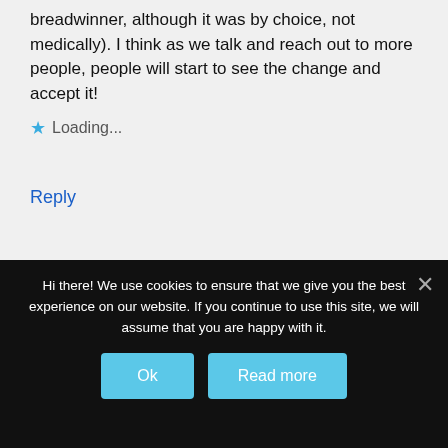breadwinner, although it was by choice, not medically). I think as we talk and reach out to more people, people will start to see the change and accept it!
★ Loading...
Reply
[Figure (screenshot): Dark black bar section at bottom of comment area]
Hi there! We use cookies to ensure that we give you the best experience on our website. If you continue to use this site, we will assume that you are happy with it.
Ok
Read more